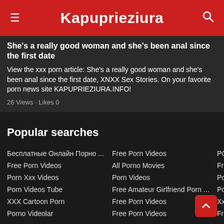Kapuprieziura
She's a really good woman and she's been anal since the first date
View the xxx porn article: She's a really good woman and she's been anal since the first date, XNXX Sex Stories. On your favorite porn news site KAPUPRIEZIURA.INFO!
26 Views · Likes 0
Popular searches
Бесплатные Онлайн Порно ...
Free Porn Videos
Porn Xxx Videos
Porn Videos Tube
XXX Cartoon Porn
Porno Videolar
Free Porn Videos
All Porno Movies
Porn Videos
Free Amateur Girlfriend Porn ...
Free Porn Videos
Free Porn Videos
PORN VIDEOS
Free Porn
Porn Videos
Porn Videos
Xxx Porn Videos
Free Asian Porn Videos
Hentai
Xxx Porn Videos
Porn Videos
Kostenloser Porno